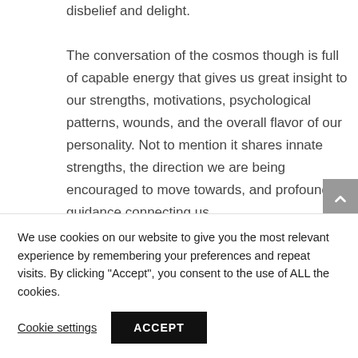disbelief and delight. The conversation of the cosmos though is full of capable energy that gives us great insight to our strengths, motivations, psychological patterns, wounds, and the overall flavor of our personality. Not to mention it shares innate strengths, the direction we are being encouraged to move towards, and profound guidance connecting us
We use cookies on our website to give you the most relevant experience by remembering your preferences and repeat visits. By clicking "Accept", you consent to the use of ALL the cookies.
Cookie settings
ACCEPT